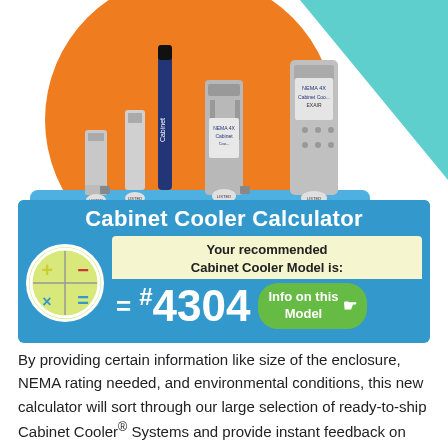[Figure (photo): Photo of EXAIR Cabinet Cooler products on a blue display stand with orange and teal background. Several cylindrical stainless steel cooler units with UL listed labels and a blue pen-shaped unit labeled 'Cabinet' are shown. Large white EXAIR logo on the blue base.]
Cabinet Cooler Calculator
Your recommended Cabinet Cooler Model is: = #4304  Info on this Model
By providing certain information like size of the enclosure, NEMA rating needed, and environmental conditions, this new calculator will sort through our large selection of ready-to-ship Cabinet Cooler® Systems and provide instant feedback on the